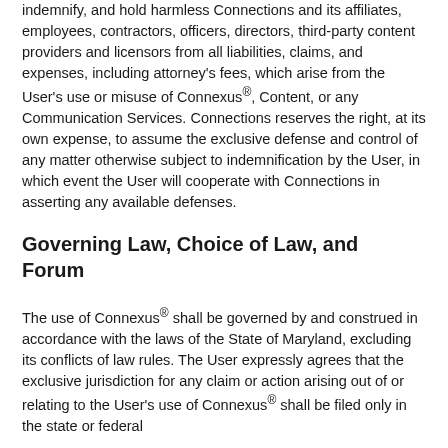indemnify, and hold harmless Connections and its affiliates, employees, contractors, officers, directors, third-party content providers and licensors from all liabilities, claims, and expenses, including attorney's fees, which arise from the User's use or misuse of Connexus®, Content, or any Communication Services. Connections reserves the right, at its own expense, to assume the exclusive defense and control of any matter otherwise subject to indemnification by the User, in which event the User will cooperate with Connections in asserting any available defenses.
Governing Law, Choice of Law, and Forum
The use of Connexus® shall be governed by and construed in accordance with the laws of the State of Maryland, excluding its conflicts of law rules. The User expressly agrees that the exclusive jurisdiction for any claim or action arising out of or relating to the User's use of Connexus® shall be filed only in the state or federal